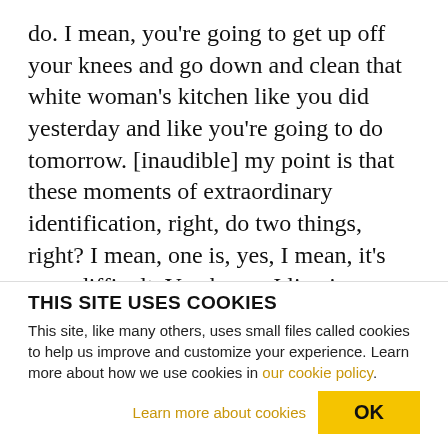do. I mean, you're going to get up off your knees and go down and clean that white woman's kitchen like you did yesterday and like you're going to do tomorrow. [inaudible] my point is that these moments of extraordinary identification, right, do two things, right? I mean, one is, yes, I mean, it's very difficult. You know, I live in Philadelphia and I drive through West Philadelphia to get to work, and it's very difficult not to get caught up–and, in fact, it is impossible not to get caught up in the enthusiasm and excitement that poor black–poor and working
THIS SITE USES COOKIES
This site, like many others, uses small files called cookies to help us improve and customize your experience. Learn more about how we use cookies in our cookie policy.
Learn more about cookies   OK